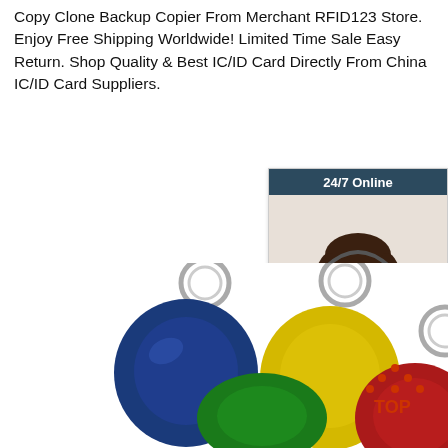Copy Clone Backup Copier From Merchant RFID123 Store. Enjoy Free Shipping Worldwide! Limited Time Sale Easy Return. Shop Quality & Best IC/ID Card Directly From China IC/ID Card Suppliers.
[Figure (illustration): Orange 'Get Price' button]
[Figure (illustration): 24/7 online chat widget with woman wearing headset, 'Click here for free chat!' text, and orange QUOTATION button]
[Figure (photo): Colorful RFID key fobs in blue, green, yellow, red colors with metal key rings on white background. TOP logo visible bottom right.]